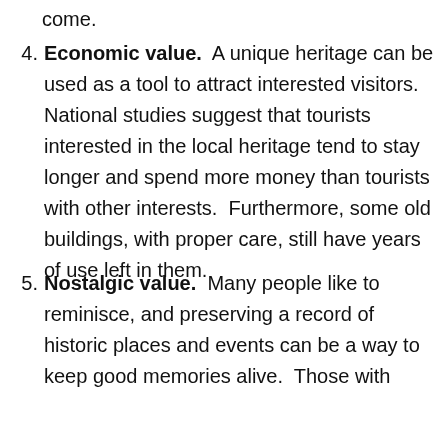come.
4. Economic value.  A unique heritage can be used as a tool to attract interested visitors. National studies suggest that tourists interested in the local heritage tend to stay longer and spend more money than tourists with other interests.  Furthermore, some old buildings, with proper care, still have years of use left in them.
5. Nostalgic value.  Many people like to reminisce, and preserving a record of historic places and events can be a way to keep good memories alive.  Those with